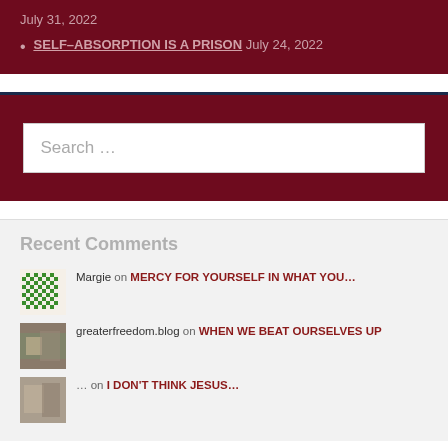July 31, 2022
SELF-ABSORPTION IS A PRISON July 24, 2022
[Figure (screenshot): Search input box with placeholder text 'Search ...' on dark red background]
Recent Comments
Margie on MERCY FOR YOURSELF IN WHAT YOU...
greaterfreedom.blog on WHEN WE BEAT OURSELVES UP
partial/truncated comment row at bottom